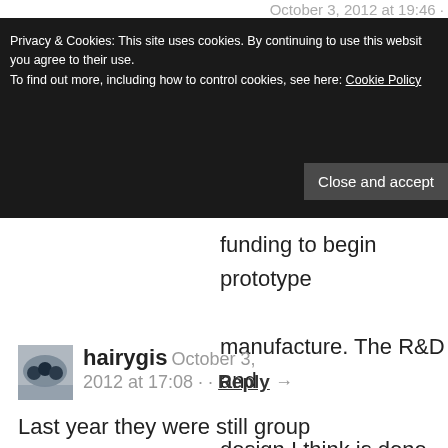October 3, 2012 at 19:46 ·
Privacy & Cookies: This site uses cookies. By continuing to use this website, you agree to their use.
To find out more, including how to control cookies, see here: Cookie Policy
Close and accept
funding to begin prototype manufacture. The R&D and design I think is done.
hairygis October 3, 2012 at 17:08 · · Reply →
Last year they were still group Lotus, or whatever it was, and